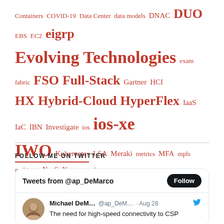[Figure (infographic): Tag cloud of technology terms in varying font sizes, all in red/crimson color. Terms include: Containers, COVID-19, Data Center, data models, DNAC, DUO, EBS, EC2, eigrp, Evolving Technologies, exam, fabric, FSO, Full-Stack, Gartner, HCI, HX, Hybrid-Cloud, HyperFlex, IaaS, IaC, IBN, Investigate, ios, ios-xe, IWO, Kubernetes, LSA, Meraki, metrics, MFA, mpls, multicast, NaaS, Nexus, ospf, python, rip, ripv2, S3, SaaS, SASE, SD-WAN, SDN, SDWAN, Security, SIG, Smart License, stub, ThousandEyes, Umbrella, update-group, Viptela, VPN, Webex, Wifi6, Wireless, written, YANG]
FOLLOW ME ON TWITTER
[Figure (screenshot): Twitter widget showing 'Tweets from @ap_DeMarco' with a Follow button, and a tweet from Michael DeM... (@ap_DeM...) dated Aug 28 reading 'The need for high-speed connectivity to CSP']